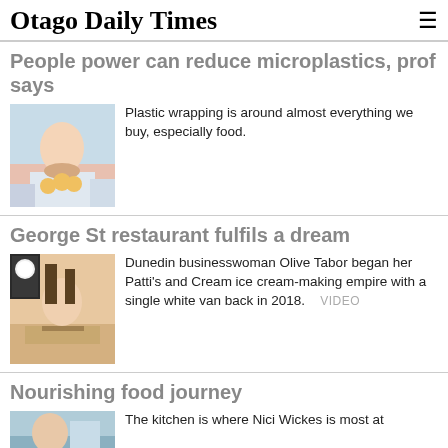Otago Daily Times
People power can reduce microplastics, prof says
[Figure (photo): Child in a supermarket holding oranges, plastic-wrapped produce in background]
Plastic wrapping is around almost everything we buy, especially food.
George St restaurant fulfils a dream
[Figure (photo): Dunedin businesswoman Olive Tabor standing behind a counter in her ice cream shop]
Dunedin businesswoman Olive Tabor began her Patti's and Cream ice cream-making empire with a single white van back in 2018.   VIDEO
Nourishing food journey
[Figure (photo): Partial photo of a kitchen scene]
The kitchen is where Nici Wickes is most at